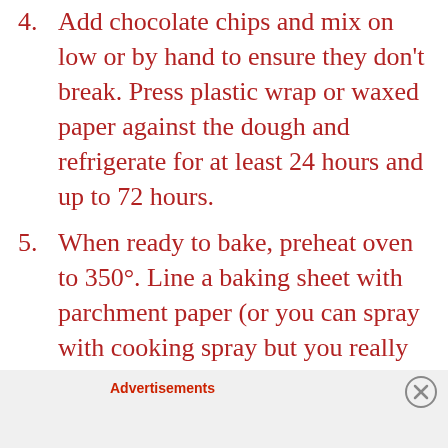4. Add chocolate chips and mix on low or by hand to ensure they don't break. Press plastic wrap or waxed paper against the dough and refrigerate for at least 24 hours and up to 72 hours.
5. When ready to bake, preheat oven to 350°. Line a baking sheet with parchment paper (or you can spray with cooking spray but you really ought to be using parchment paper. It's very handy!)
6. Scoop six mounds of dough onto baking sheet. (I used an ice-cream scoop.) Sprinkle lightly with sea salt and bake until desired doneness, 15 to 20 minutes, depending on your taste.
Advertisements